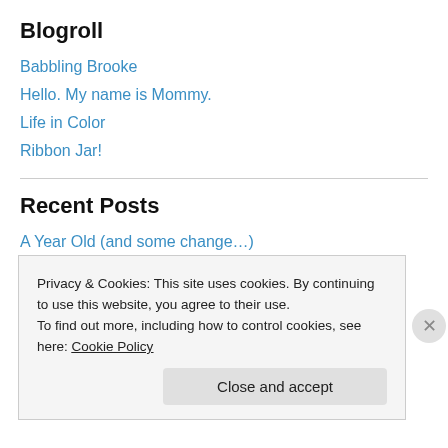Blogroll
Babbling Brooke
Hello. My name is Mommy.
Life in Color
Ribbon Jar!
Recent Posts
A Year Old (and some change…)
Birth Story
To Oregon from Vermont…The Journey Continues….
Parting is Such Sweet Sorrow
Privacy & Cookies: This site uses cookies. By continuing to use this website, you agree to their use.
To find out more, including how to control cookies, see here: Cookie Policy
Close and accept